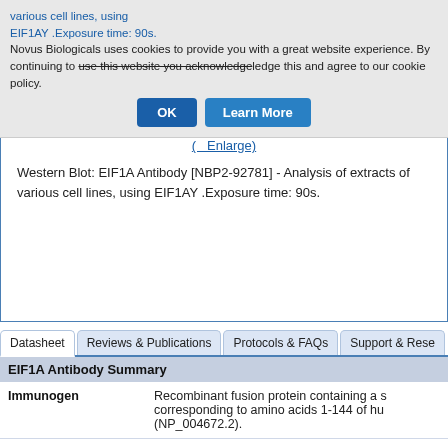Novus Biologicals uses cookies to provide you with a great website experience. By continuing to use this website you acknowledge this and agree to our cookie policy.
OK | Learn More
Image 1 of 1
( Enlarge)
Western Blot: EIF1A Antibody [NBP2-92781] - Analysis of extracts of various cell lines, using EIF1AY .Exposure time: 90s.
Datasheet | Reviews & Publications | Protocols & FAQs | Support & Rese...
EIF1A Antibody Summary
| Immunogen |  |
| --- | --- |
| Immunogen | Recombinant fusion protein containing a s... corresponding to amino acids 1-144 of hu... (NP_004672.2). |